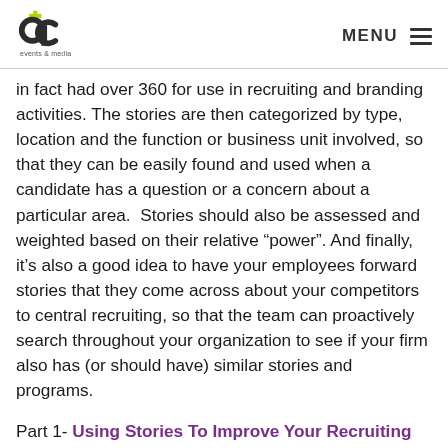atc events & media | MENU
in fact had over 360 for use in recruiting and branding activities. The stories are then categorized by type, location and the function or business unit involved, so that they can be easily found and used when a candidate has a question or a concern about a particular area.  Stories should also be assessed and weighted based on their relative “power”. And finally, it’s also a good idea to have your employees forward stories that they come across about your competitors to central recruiting, so that the team can proactively search throughout your organization to see if your firm also has (or should have) similar stories and programs.
Part 1- Using Stories To Improve Your Recruiting Results